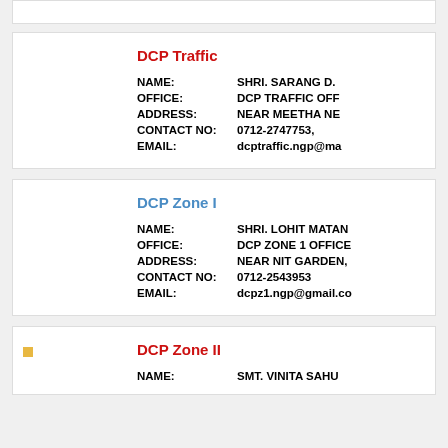DCP Traffic
NAME: SHRI. SARANG D. | OFFICE: DCP TRAFFIC OFF | ADDRESS: NEAR MEETHA NE | CONTACT NO: 0712-2747753, | EMAIL: dcptraffic.ngp@ma
DCP Zone I
NAME: SHRI. LOHIT MATAN | OFFICE: DCP ZONE 1 OFFICE | ADDRESS: NEAR NIT GARDEN, | CONTACT NO: 0712-2543953 | EMAIL: dcpz1.ngp@gmail.co
DCP Zone II
NAME: SMT. VINITA SAHU